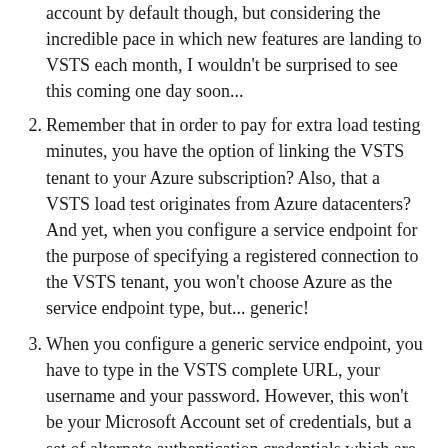account by default though, but considering the incredible pace in which new features are landing to VSTS each month, I wouldn't be surprised to see this coming one day soon...
2. Remember that in order to pay for extra load testing minutes, you have the option of linking the VSTS tenant to your Azure subscription? Also, that a VSTS load test originates from Azure datacenters? And yet, when you configure a service endpoint for the purpose of specifying a registered connection to the VSTS tenant, you won't choose Azure as the service endpoint type, but... generic!
3. When you configure a generic service endpoint, you have to type in the VSTS complete URL, your username and your password. However, this won't be your Microsoft Account set of credentials, but a set of alternate authentication credentials which are well hidden in VSTS (click on your name > My Profile >